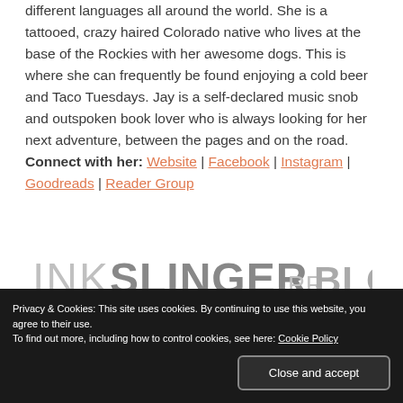different languages all around the world. She is a tattooed, crazy haired Colorado native who lives at the base of the Rockies with her awesome dogs. This is where she can frequently be found enjoying a cold beer and Taco Tuesdays. Jay is a self-declared music snob and outspoken book lover who is always looking for her next adventure, between the pages and on the road. Connect with her: Website | Facebook | Instagram | Goodreads | Reader Group
[Figure (logo): Inkslinger PR Blogger logo — HELPING AUTHORS GET THE WORD OUT]
Privacy & Cookies: This site uses cookies. By continuing to use this website, you agree to their use. To find out more, including how to control cookies, see here: Cookie Policy
Close and accept